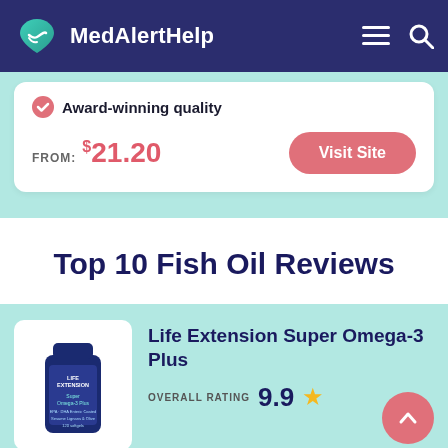MedAlertHelp
Award-winning quality
FROM: $21.20
Visit Site
Top 10 Fish Oil Reviews
[Figure (photo): Life Extension Super Omega-3 Plus supplement bottle]
Life Extension Super Omega-3 Plus
OVERALL RATING 9.9 ★